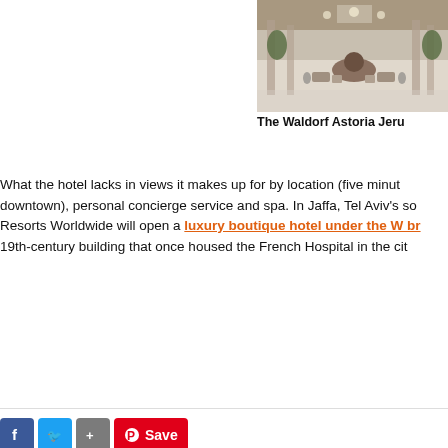[Figure (photo): Aerial/interior view of The Waldorf Astoria Jerusalem hotel lobby with columns and seating areas]
The Waldorf Astoria Jeru
What the hotel lacks in views it makes up for by location (five minut downtown), personal concierge service and spa. In Jaffa, Tel Aviv's so Resorts Worldwide will open a luxury boutique hotel under the W br 19th-century building that once housed the French Hospital in the cit
[Figure (infographic): Social share buttons: Facebook (blue), Twitter (blue), Share (gray), Pinterest Save (red)]
Leave a Reply
Comment *